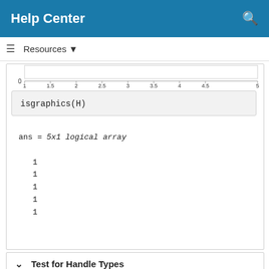Help Center
[Figure (continuous-plot): Partial view of a MATLAB plot with x-axis ticks from 1 to 5 (1, 1.5, 2, 2.5, 3, 3.5, 4, 4.5, 5) and y-axis showing 0, cropped at the top]
isgraphics(H)
ans = 5x1 logical array

   1
   1
   1
   1
   1
Test for Handle Types
Create a plot and return the handle array. Concatenate with